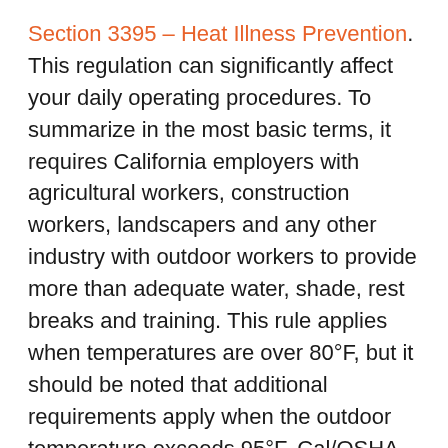Section 3395 – Heat Illness Prevention. This regulation can significantly affect your daily operating procedures. To summarize in the most basic terms, it requires California employers with agricultural workers, construction workers, landscapers and any other industry with outdoor workers to provide more than adequate water, shade, rest breaks and training. This rule applies when temperatures are over 80°F, but it should be noted that additional requirements apply when the outdoor temperature exceeds 95°F. Cal/OSHA has determined that at 95°F, outdoor workers are at high risk for heat-related illnesses and a more stringent set of